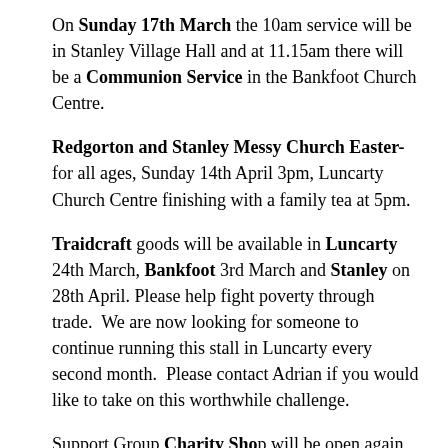On Sunday 17th March the 10am service will be in Stanley Village Hall and at 11.15am there will be a Communion Service in the Bankfoot Church Centre.
Redgorton and Stanley Messy Church Easter- for all ages, Sunday 14th April 3pm, Luncarty Church Centre finishing with a family tea at 5pm.
Traidcraft goods will be available in Luncarty 24th March, Bankfoot 3rd March and Stanley on 28th April. Please help fight poverty through trade. We are now looking for someone to continue running this stall in Luncarty every second month. Please contact Adrian if you would like to take on this worthwhile challenge.
Support Group Charity Shop will be open again in